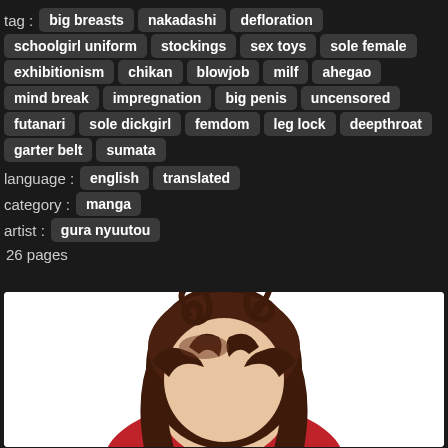tag : big breasts  nakadashi  defloration  schoolgirl uniform  stockings  sex toys  sole female  exhibitionism  chikan  blowjob  milf  ahegao  mind break  impregnation  big penis  uncensored  futanari  sole dickgirl  femdom  leg lock  deepthroat  garter belt  sumata
language : english  translated
category : manga
artist : gura nyuutou
26 pages
[Figure (illustration): Anime-style illustration showing the top of a female character's head with long dark brown hair with curling ahoge strands, wearing a red outfit, against a white background.]